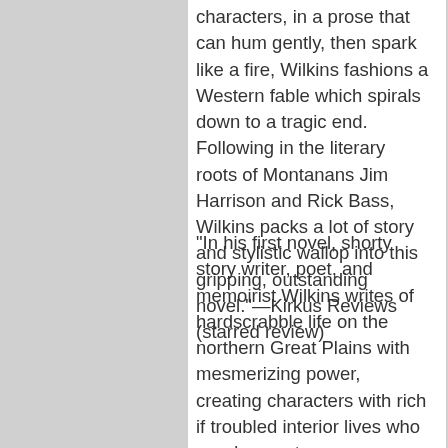characters, in a prose that can hum gently, then spark like a fire, Wilkins fashions a Western fable which spirals down to a tragic end. Following in the literary roots of Montanans Jim Harrison and Rick Bass, Wilkins packs a lot of story and stylistic wallop into this gripping, outstanding novel."—Kirkus Reviews (starred review)
"In his first novel, shorty story writer, poet, and memoirist Wilkins writes of hardscrabble life on the northern Great Plains with mesmerizing power, creating characters with rich if troubled interior lives who are desperate